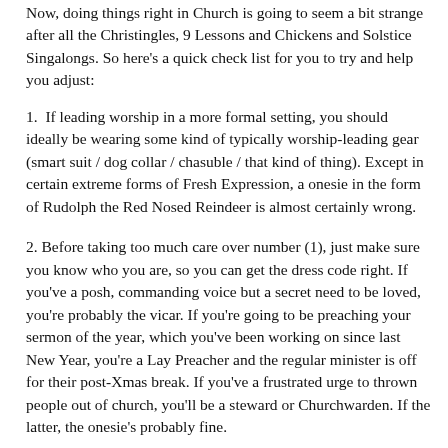Now, doing things right in Church is going to seem a bit strange after all the Christingles, 9 Lessons and Chickens and Solstice Singalongs. So here's a quick check list for you to try and help you adjust:
1.  If leading worship in a more formal setting, you should ideally be wearing some kind of typically worship-leading gear (smart suit / dog collar / chasuble / that kind of thing). Except in certain extreme forms of Fresh Expression, a onesie in the form of Rudolph the Red Nosed Reindeer is almost certainly wrong.
2. Before taking too much care over number (1), just make sure you know who you are, so you can get the dress code right. If you've a posh, commanding voice but a secret need to be loved, you're probably the vicar. If you're going to be preaching your sermon of the year, which you've been working on since last New Year, you're a Lay Preacher and the regular minister is off for their post-Xmas break. If you've a frustrated urge to thrown people out of church, you'll be a steward or Churchwarden. If the latter, the onesie's probably fine.